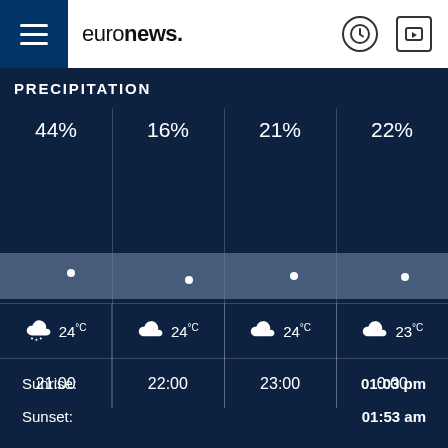euronews.
PRECIPITATION
[Figure (infographic): Hourly weather forecast grid showing precipitation percentages (44%, 16%, 21%, 22%), a line/band chart, cloud icons with temperatures (24°C, 24°C, 24°C, 23°C), and times (21:00, 22:00, 23:00, 0:00)]
Sunrise:
01:03 pm
Sunset:
01:53 am